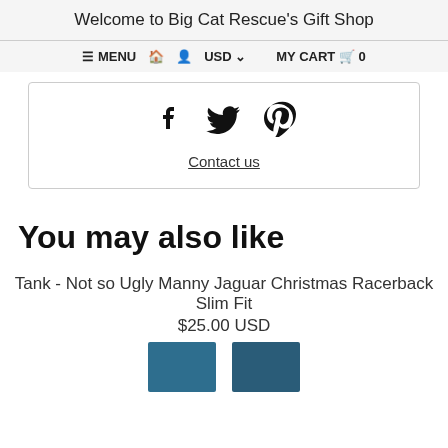Welcome to Big Cat Rescue's Gift Shop
≡ MENU 🏠 👤 USD ∨  MY CART 🛒 0
[Figure (illustration): Social media icons: Facebook, Twitter, Pinterest]
Contact us
You may also like
Tank - Not so Ugly Manny Jaguar Christmas Racerback Slim Fit
$25.00 USD
[Figure (photo): Two small teal/dark blue tank top product images]